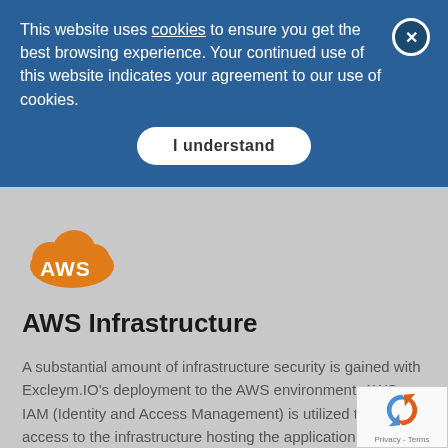This website uses cookies to ensure you get the best browsing experience. Your continued use of this website indicates your agreement to our use of cookies.
I understand
[Figure (logo): AWS cloud logo — orange cloud shape with 'AWS' text in white]
AWS Infrastructure
A substantial amount of infrastructure security is gained with Excleym.IO's deployment to the AWS environment. AWS IAM (Identity and Access Management) is utilized to gain access to the infrastructure hosting the application.
Because Excelym.IO is deployed to customer specific infrastructure, the following gains are present:
[Figure (other): reCAPTCHA Privacy - Terms badge overlay in bottom right corner]